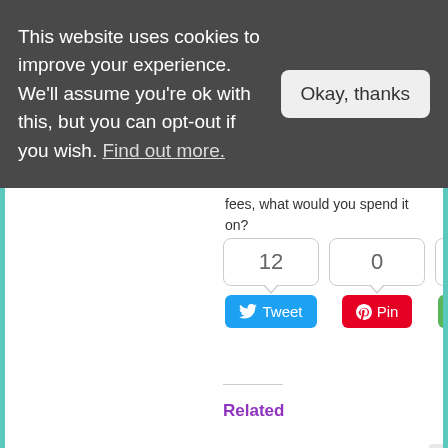This website uses cookies to improve your experience. We'll assume you're ok with this, but you can opt-out if you wish. Find out more.
fees, what would you spend it on?
[Figure (screenshot): Social share buttons showing Tweet (12), Pin (0), and Share (110) counts]
Related
How to save money with online estate agents?
December 9, 2016
[Figure (illustration): Online grocery shopping comparison - updated image showing a laptop with a market stall]
Best supermarket for online grocery